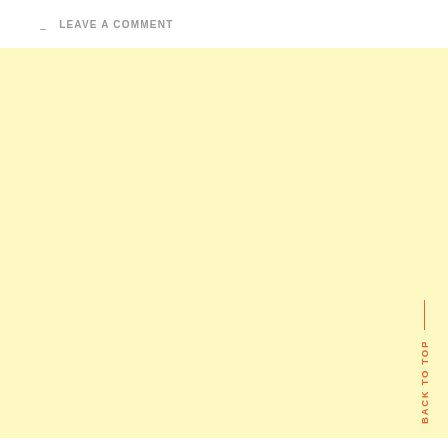LEAVE A COMMENT
[Figure (other): Large light yellow rectangular block filling the lower portion of the page, with 'BACK TO TOP' text rotated vertically on the right side with a vertical line above it, in orange color.]